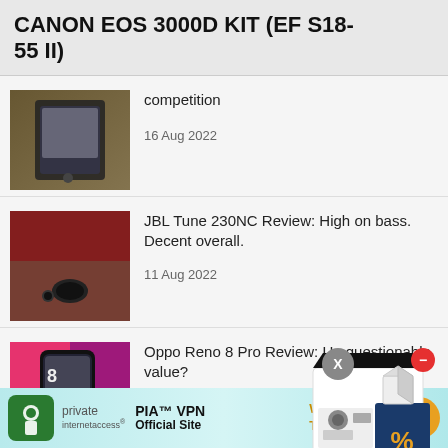CANON EOS 3000D KIT (EF S18-55 II)
[Figure (photo): Phone image - competition article thumbnail]
competition
16 Aug 2022
[Figure (photo): JBL earbuds on wooden surface]
JBL Tune 230NC Review: High on bass. Decent overall.
11 Aug 2022
[Figure (photo): Oppo Reno 8 Pro smartphone]
Oppo Reno 8 Pro Review: Un questionable value?
09 Aug 2022
[Figure (photo): Advertisement overlay - discount box with percentage symbol]
[Figure (photo): PIA VPN advertisement banner - World's Most Trusted VPN]